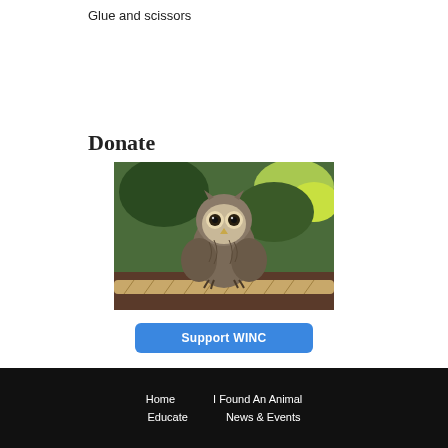Glue and scissors
Donate
[Figure (photo): A small owl (screech owl) perched on a rope or branch, with a blurred green foliage background. The owl faces forward with large eyes.]
Support WINC
Home   I Found An Animal   Educate   News & Events